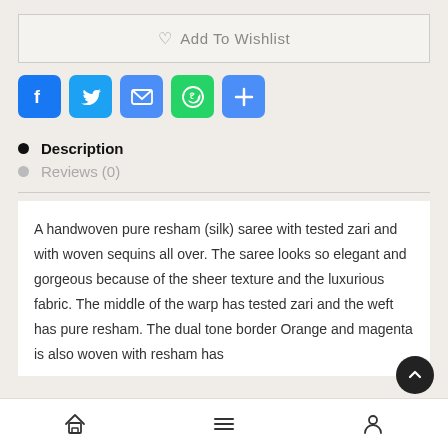♡  Add To Wishlist
[Figure (infographic): Social sharing icons: Facebook, Twitter, Email, WhatsApp, Share (plus)]
Description
Reviews (0)
A handwoven pure resham (silk) saree with tested zari and with woven sequins all over. The saree looks so elegant and gorgeous because of the sheer texture and the luxurious fabric. The middle of the warp has tested zari and the weft has pure resham. The dual tone border Orange and magenta is also woven with resham has
Home | Menu | Profile